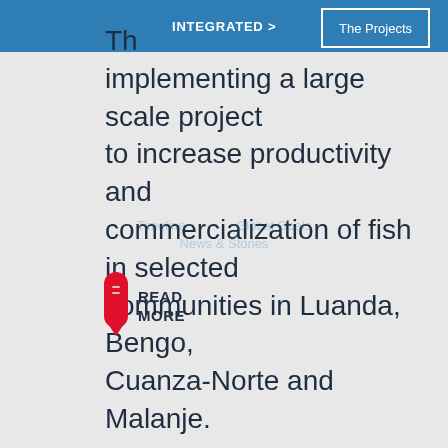INTEGRATED > | The Projects
Th… implementing a large scale project to increase productivity and commercialization of fish in selected communities in Luanda, Bengo, Cuanza-Norte and Malanje.
Timeline    Global Goals
News & Stories
[Figure (other): Red pill/bookmark icon with READ MORE label]